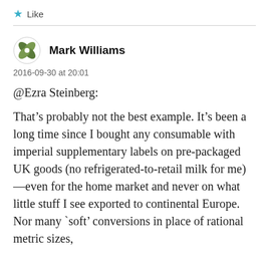Like
Mark Williams
2016-09-30 at 20:01
@Ezra Steinberg:
That's probably not the best example. It's been a long time since I bought any consumable with imperial supplementary labels on pre-packaged UK goods (no refrigerated-to-retail milk for me)—even for the home market and never on what little stuff I see exported to continental Europe. Nor many `soft' conversions in place of rational metric sizes,